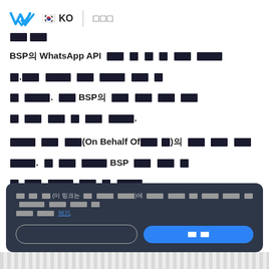✔ 🇰🇷 KO | □□□
NN NN
BSP의 WhatsApp API 사용 약관 업데이 트 및 개인정보 처리방침. 귀하의 개인정보 처리방침 링크를 추가하여 귀하의 고객이 귀하의 서비스를 사용 시 확인할 수 있도록 업데이트 하세요. 업데이트된 BSP의 약관 및 개인 정보 처리방침은 2023년 4월 15일부터 사용자 계정에 적용됩니다.
개인정보 보호 정책(On Behalf Of개인 정보)의 관리 책임이 귀하에게 있습니다. 이 섹션에서 귀하의 개인정보 처리방침 BSP 약관 및 사용자 언어 설정에 따라 사용자 개인정보 처리방침 링크 페이지가 표시됩니다.
개인정보 보호 정책 수 호(이 링크는 귀하의 모든 사용자) 에게 표시되며 이는 귀하의 개인정보 처리방침 링크 에 대해 이해를 돕기 위한 미리보기 입니다. 이에 대해 자세히 알아보세요.
[Figure (screenshot): Modal dialog with cancel and confirm buttons on dark background]